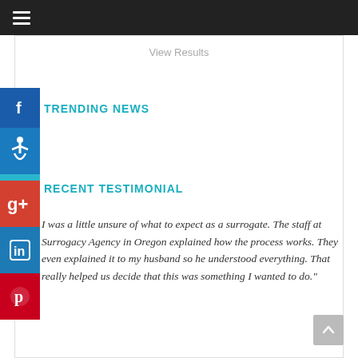≡ (hamburger menu / navigation bar)
View Results
TRENDING NEWS
RECENT TESTIMONIAL
I was a little unsure of what to expect as a surrogate. The staff at Surrogacy Agency in Oregon explained how the process works. They even explained it to my husband so he understood everything. That really helped us decide that this was something I wanted to do."